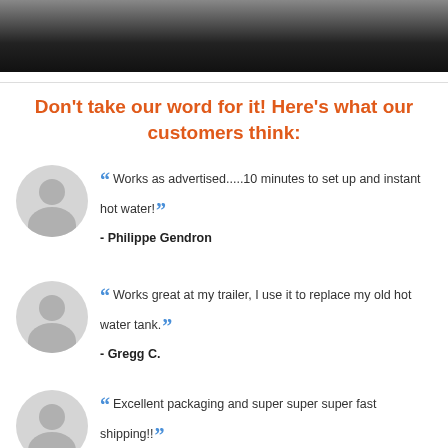[Figure (photo): Dark banner image at top of page, partially visible, showing blurred background scene]
Don't take our word for it! Here's what our customers think:
Works as advertised.....10 minutes to set up and instant hot water! - Philippe Gendron
Works great at my trailer, I use it to replace my old hot water tank. - Gregg C.
Excellent packaging and super super super fast shipping!! - [name cut off]